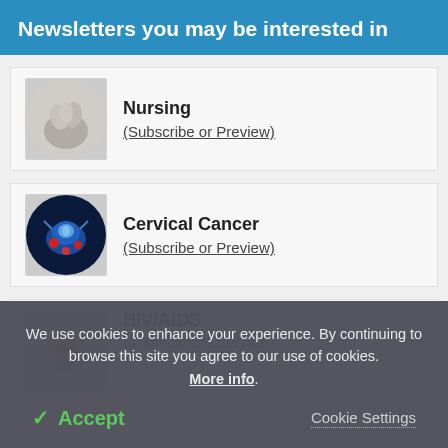Newsletters you may be interested in
Nursing (Subscribe or Preview)
Cervical Cancer (Subscribe or Preview)
HIV/AIDS (Subscribe or Preview)
We use cookies to enhance your experience. By continuing to browse this site you agree to our use of cookies. More info.
✓ Accept
Cookie Settings